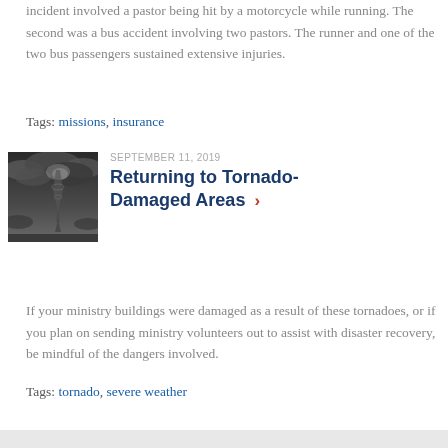incident involved a pastor being hit by a motorcycle while running. The second was a bus accident involving two pastors. The runner and one of the two bus passengers sustained extensive injuries.
Tags: missions, insurance
[Figure (photo): A dark stormy sky with a tornado funnel cloud descending toward the ground.]
SEPTEMBER 11, 2019
Returning to Tornado-Damaged Areas
If your ministry buildings were damaged as a result of these tornadoes, or if you plan on sending ministry volunteers out to assist with disaster recovery, be mindful of the dangers involved.
Tags: tornado, severe weather